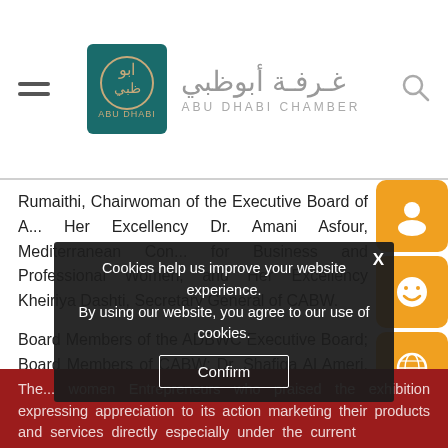[Figure (logo): Abu Dhabi Chamber logo with Arabic text and teal square icon, hamburger menu on left, search icon on right]
Rumaithi, Chairwoman of the Executive Board of A... Her Excellency Dr. Amani Asfour, Mediterranean Con... for Business and Professional Women; and Her Excellency Kheiriya Dashti, Secretary General of CABW.
Board Members of the ADBWC Executive Board; Board Members of CABW; Dr. Shafiqa Al Ameri, Executive Director of the ADBWC; and a large number of women entrepreneurs and businesswomen attended the virtual exhibition as well.
The... women Entrepreneurs who praised the exhibition expressing appreciation to its action marketing their products and services directly especially under the current
Cookies help us improve your website experience. By using our website, you agree to our use of cookies.
Confirm